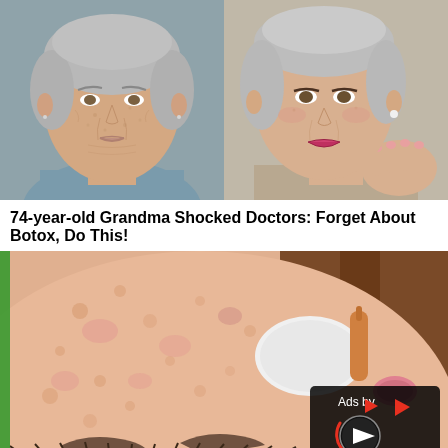[Figure (photo): Before and after comparison photo of an older woman. Left side shows natural face without makeup, right side shows the same woman with makeup and hand posed under chin.]
74-year-old Grandma Shocked Doctors: Forget About Botox, Do This!
[Figure (illustration): Cartoon/illustration of a close-up face receiving a skincare treatment with a brush, showing skin texture detail. Overlaid with an 'Ads by' video play button badge in the bottom right corner.]